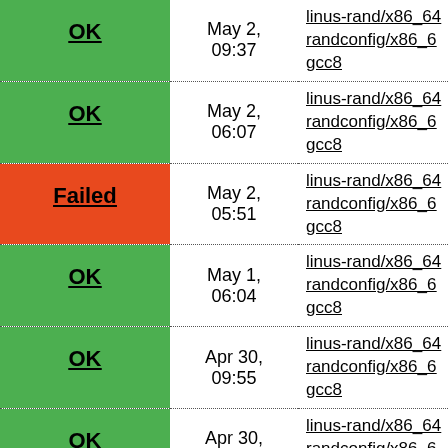| Status | Date | Link |
| --- | --- | --- |
| OK | May 2, 09:37 | linus-rand/x86_64 randconfig/x86_6 gcc8 |
| OK | May 2, 06:07 | linus-rand/x86_64 randconfig/x86_6 gcc8 |
| Failed | May 2, 05:51 | linus-rand/x86_64 randconfig/x86_6 gcc8 |
| OK | May 1, 06:04 | linus-rand/x86_64 randconfig/x86_6 gcc8 |
| OK | Apr 30, 09:55 | linus-rand/x86_64 randconfig/x86_6 gcc8 |
| OK | Apr 30, 06:34 | linus-rand/x86_64 randconfig/x86_6 gcc8 |
| OK | Apr 30, ... | linus-rand/x86_64 randconfig/x86_6 |